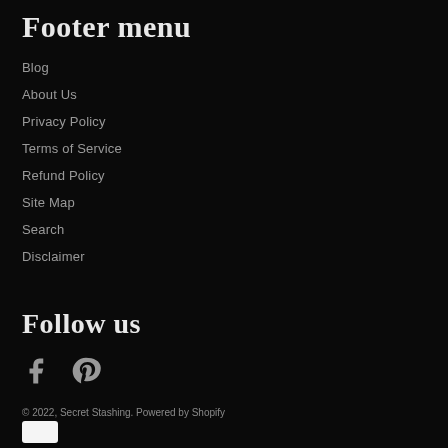Footer menu
Blog
About Us
Privacy Policy
Terms of Service
Refund Policy
Site Map
Search
Disclaimer
Follow us
[Figure (other): Facebook and Pinterest social media icons]
© 2022, Secret Stashing. Powered by Shopify